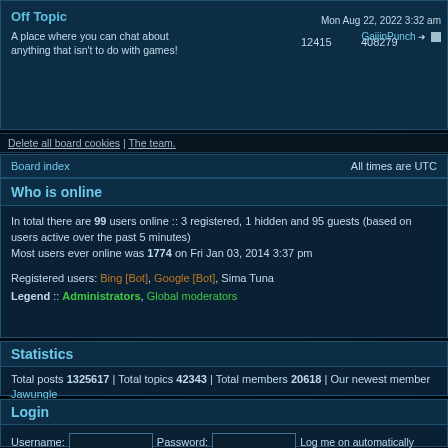Off Topic
A place where you can chat about anything that isn't to do with games!
12415   408279   Mon Aug 22, 2022 3:32 am   GaijinPunch
Delete all board cookies | The team.
Board index   All times are UTC
Who is online
In total there are 99 users online :: 3 registered, 1 hidden and 95 guests (based on users active over the past 5 minutes)
Most users ever online was 1774 on Fri Jan 03, 2014 3:37 pm
Registered users: Bing [Bot], Google [Bot], Sima Tuna
Legend :: Administrators, Global moderators
Statistics
Total posts 1325617 | Total topics 42343 | Total members 20618 | Our newest member Jawungle
Login
Username:   Password:   Log me on automatically each visit   Login